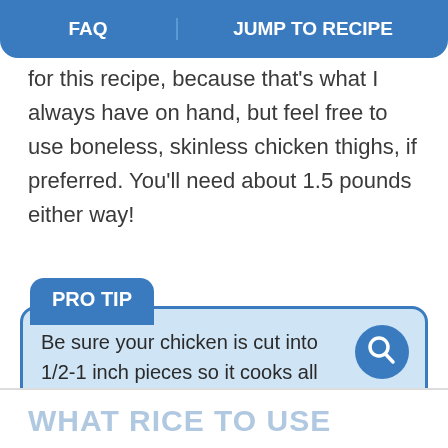FAQ | JUMP TO RECIPE
for this recipe, because that's what I always have on hand, but feel free to use boneless, skinless chicken thighs, if preferred. You'll need about 1.5 pounds either way!
PRO TIP
Be sure your chicken is cut into 1/2-1 inch pieces so it cooks all the way through!
WHAT RICE TO USE